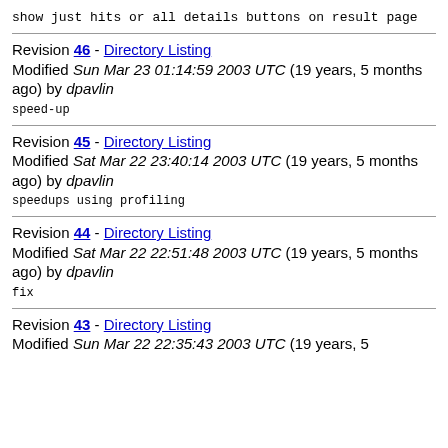show just hits or all details buttons on result page
Revision 46 - Directory Listing
Modified Sun Mar 23 01:14:59 2003 UTC (19 years, 5 months ago) by dpavlin
speed-up
Revision 45 - Directory Listing
Modified Sat Mar 22 23:40:14 2003 UTC (19 years, 5 months ago) by dpavlin
speedups using profiling
Revision 44 - Directory Listing
Modified Sat Mar 22 22:51:48 2003 UTC (19 years, 5 months ago) by dpavlin
fix
Revision 43 - Directory Listing
Modified Sun Mar 23 ...